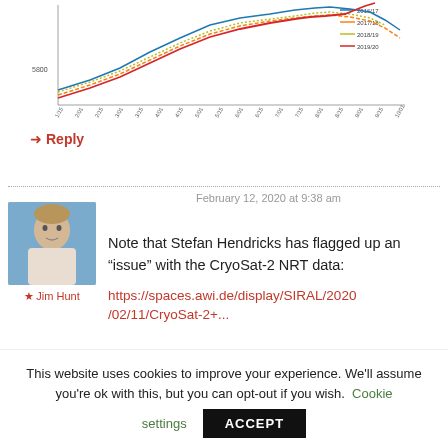[Figure (line-chart): Partial line chart showing multiple colored trend lines (blue, orange/red, olive, red) with a legend indicating years around 2016-2019. X-axis shows date/time labels, y-axis unlabeled. Chart is cropped at top.]
Reply
February 12, 2020 at 9:38 am
[Figure (photo): Profile photo of Jim Hunt, a middle-aged man in a light-colored shirt, outdoors near water.]
★ Jim Hunt
Note that Stefan Hendricks has flagged up an “issue” with the CryoSat-2 NRT data:
https://spaces.awi.de/display/SIRAL/2020/02/11/CryoSat-2+...
This website uses cookies to improve your experience. We'll assume you're ok with this, but you can opt-out if you wish. Cookie settings ACCEPT